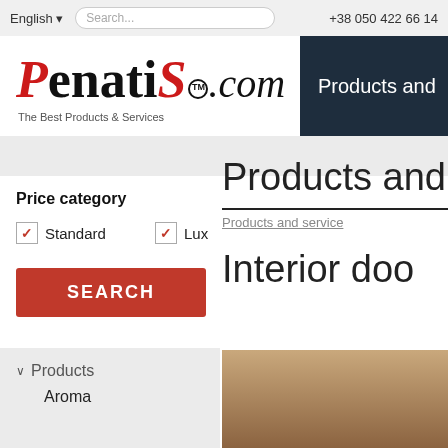English  Search...  +38 050 422 66 14
[Figure (logo): Penatis.com TM logo with tagline The Best Products & Services]
Products and
Products and service
Interior doo
Price category
Standard
Lux
SEARCH
Products
Aroma